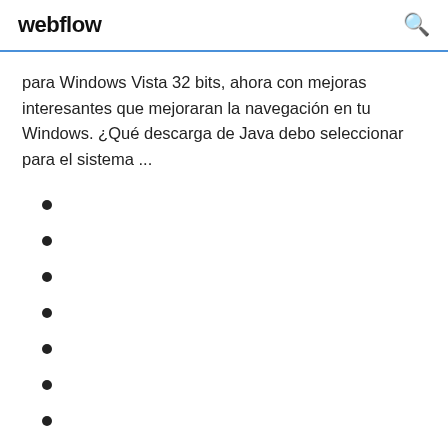webflow
para Windows Vista 32 bits, ahora con mejoras interesantes que mejoraran la navegación en tu Windows. ¿Qué descarga de Java debo seleccionar para el sistema ...
1145